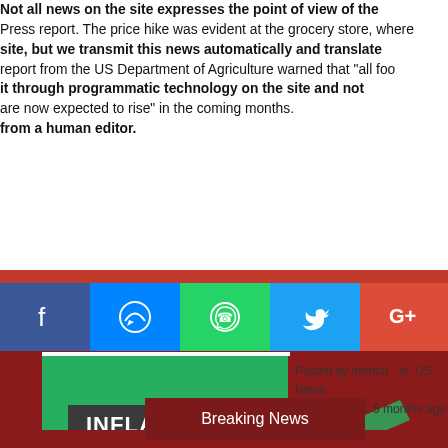Not all news on the site expresses the point of view of the Press report. The price hike was evident at the grocery store, where report from the US Department of Agriculture warned that "all food are now expected to rise" in the coming months. site, but we transmit this news automatically and translate it through programmatic technology on the site and not from a human editor.
[Figure (screenshot): Social media sharing buttons: Facebook (blue), Messenger (blue), WhatsApp (teal), Twitter (light blue), Google+ (red/orange)]
[Figure (infographic): Green background image with dark grey box labeled INFLATION in white bold text. Overlapping metadata text: Posted by lremon, In: US News, Last Modified: 5 months ago. Grocery inflation illustration showing a cardboard box with canned goods and dollar signs, with green arrows.]
Breaking News